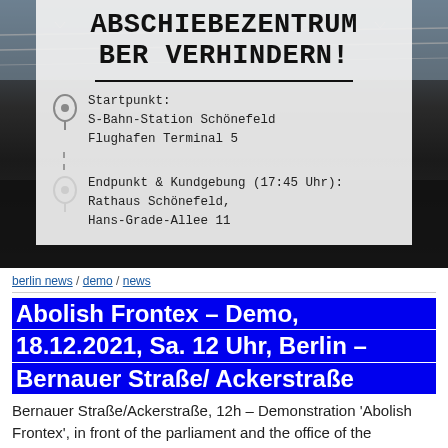[Figure (infographic): Protest poster with dark background showing barbed wire. White overlay box contains typewriter-font text 'ABSCHIEBEZENTRUM BER VERHINDERN!' with two location pins: Startpunkt S-Bahn-Station Schönefeld Flughafen Terminal 5, and Endpunkt & Kundgebung (17:45 Uhr): Rathaus Schönefeld, Hans-Grade-Allee 11]
berlin news / demo / news
Abolish Frontex – Demo, 18.12.2021, Sa. 12 Uhr, Berlin – Bernauer Straße/ Ackerstraße
Bernauer Straße/Ackerstraße, 12h – Demonstration 'Abolish Frontex', in front of the parliament and the office of the Chancellor **French and English below **Francais et